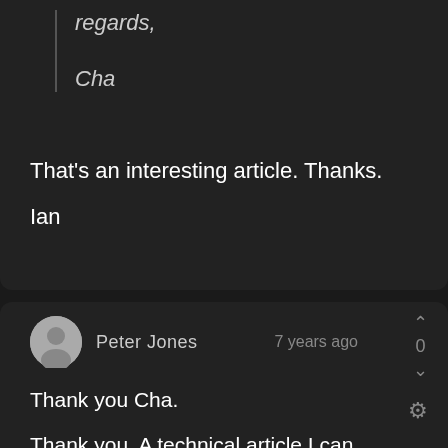regards,

Cha
That's an interesting article. Thanks.

Ian
Peter Jones   7 years ago
Thank you Cha.
Thank you. A technical article I can actually understand! Yes, ETTR is what is recommended. But it is flawed because, in